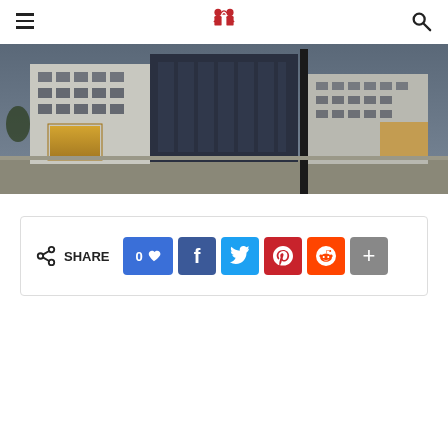[logo] [hamburger menu] [search icon]
[Figure (photo): Panoramic photo of a modern university or office building exterior at dusk, showing glass facade, white panels, illuminated entrance area, and trees along the sidewalk.]
SHARE 0 [like] [Facebook] [Twitter] [Pinterest] [Reddit] [More]